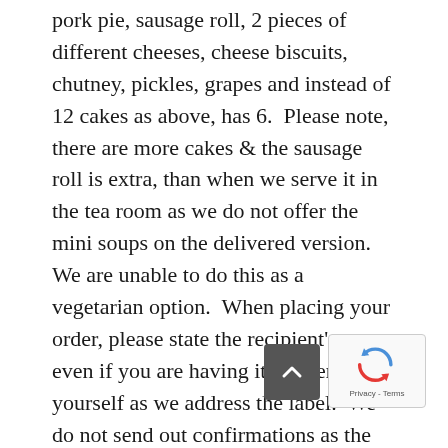pork pie, sausage roll, 2 pieces of different cheeses, cheese biscuits, chutney, pickles, grapes and instead of 12 cakes as above, has 6.  Please note, there are more cakes & the sausage roll is extra, than when we serve it in the tea room as we do not offer the mini soups on the delivered version.  We are unable to do this as a vegetarian option.  When placing your order, please state the recipient's name even if you are having it delivered to yourself as we address the label.  We do not send out confirmations as the Paypal will be your receipt, though we will contact you if we receive payment, but no details or any query on the order.  You can however call us to check 07733385342  Sadly we do not have any technology to enable you to track us, only the mobile phone which is a live update on the...
[Figure (other): Scroll-to-top button (dark grey square with upward chevron) and reCAPTCHA badge with Privacy - Terms label]